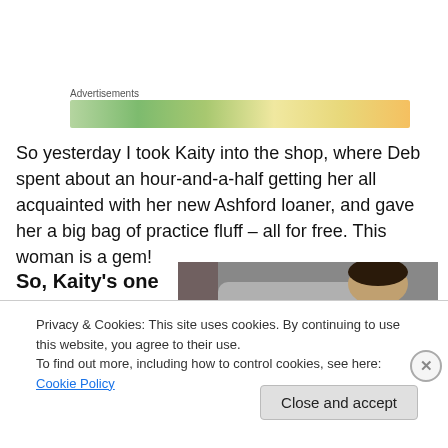Advertisements
[Figure (illustration): Colorful advertisement banner strip with green, yellow, and orange decorative shapes/bowls]
So yesterday I took Kaity into the shop, where Deb spent about an hour-and-a-half getting her all acquainted with her new Ashford loaner, and gave her a big bag of practice fluff – all for free. This woman is a gem!
[Figure (photo): A person in a grey hoodie working at what appears to be a spinning or weaving loom, hands visible with red nail polish]
So, Kaity's one
Privacy & Cookies: This site uses cookies. By continuing to use this website, you agree to their use.
To find out more, including how to control cookies, see here: Cookie Policy
Close and accept